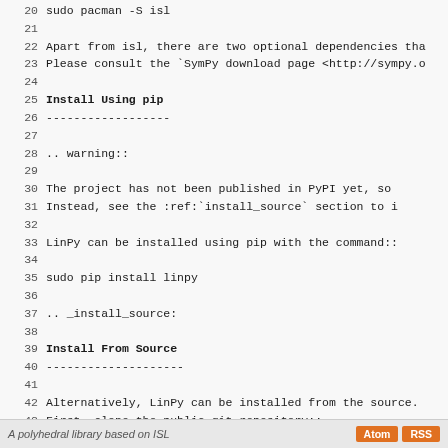20     sudo pacman -S isl
21
22 Apart from isl, there are two optional dependencies tha
23 Please consult the `SymPy download page <http://sympy.o
24
25 Install Using pip
26 ------------------
27
28 .. warning::
29
30     The project has not been published in PyPI yet, so
31     Instead, see the :ref:`install_source` section to i
32
33 LinPy can be installed using pip with the command::
34
35     sudo pip install linpy
36
37 .. _install_source:
38
39 Install From Source
40 --------------------
41
42 Alternatively, LinPy can be installed from the source.
43 First, clone the public git repository::
44
45     git clone https://scm.cri.mines-paristech.fr/git/li
46
47 and build and install as usual with::
48
49     sudo python3 setup.py install
A polyhedral library based on ISL | Atom | RSS